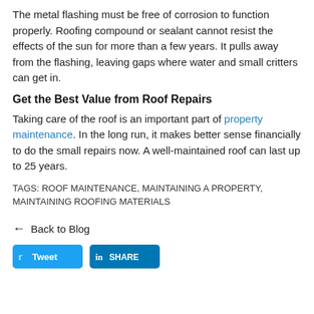The metal flashing must be free of corrosion to function properly. Roofing compound or sealant cannot resist the effects of the sun for more than a few years. It pulls away from the flashing, leaving gaps where water and small critters can get in.
Get the Best Value from Roof Repairs
Taking care of the roof is an important part of property maintenance. In the long run, it makes better sense financially to do the small repairs now. A well-maintained roof can last up to 25 years.
TAGS: ROOF MAINTENANCE, MAINTAINING A PROPERTY, MAINTAINING ROOFING MATERIALS
← Back to Blog